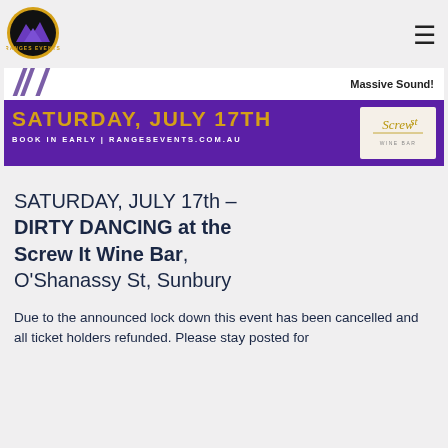[Figure (logo): Ranges Events logo — black circle with purple mountain peaks and gold ring border, 'RANGES EVENTS' text]
[Figure (infographic): Event banner: white top strip with purple italic slashes and 'Massive Sound!' text; purple main band with 'SATURDAY, JULY 17TH' in gold, 'BOOK IN EARLY | RANGESEVENTS.COM.AU' in white, and Screw It Wine Bar logo box on right]
SATURDAY, JULY 17th – DIRTY DANCING at the Screw It Wine Bar, O'Shanassy St, Sunbury
Due to the announced lock down this event has been cancelled and all ticket holders refunded. Please stay posted for